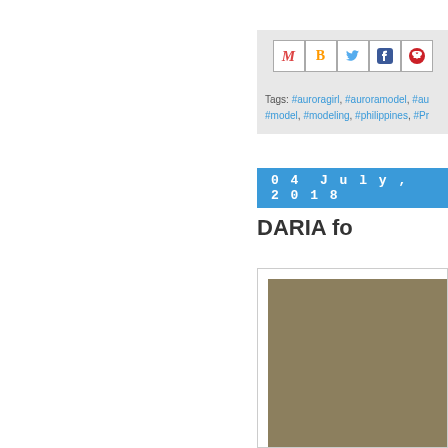[Figure (screenshot): Share bar with social media icons (Gmail/M, Blogger/B, Twitter bird, Facebook f, Pinterest) on a light grey background]
Tags: #auroragirl, #auroramodel, #au... #model, #modeling, #philippines, #Pr...
04 July, 2018
DARIA fo
[Figure (photo): Partial photo with olive/khaki colored background, cropped at right edge]